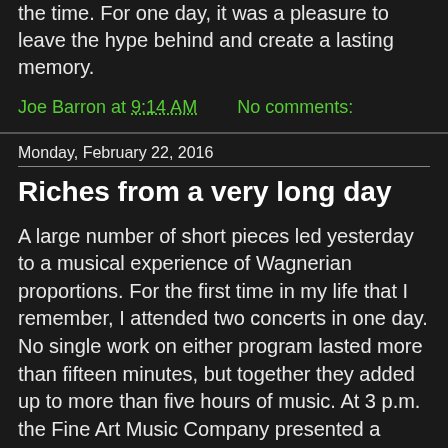the time. For one day, it was a pleasure to leave the hype behind and create a lasting memory.
Joe Barron at 9:14 AM    No comments:
Monday, February 22, 2016
Riches from a very long day
A large number of short pieces led yesterday to a musical experience of Wagnerian proportions. For the first time in my life that I remember, I attended two concerts in one day. No single work on either program lasted more than fifteen minutes, but together they added up to more than five hours of music. At 3 p.m. the Fine Art Music Company presented a concert of music for violin, saxophone and piano at Ivy Hall (in the Georgian mansion known as the International Institute for Culture) on Lancaster Avenue. Then, at 7, Andrea Clearfield hosted her monthly salon at her home downtown.